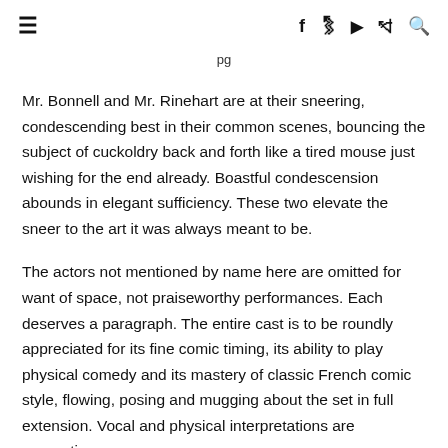≡   f  𝕲  ▶  ⊃  🔍
pg
Mr. Bonnell and Mr. Rinehart are at their sneering, condescending best in their common scenes, bouncing the subject of cuckoldry back and forth like a tired mouse just wishing for the end already. Boastful condescension abounds in elegant sufficiency. These two elevate the sneer to the art it was always meant to be.
The actors not mentioned by name here are omitted for want of space, not praiseworthy performances. Each deserves a paragraph. The entire cast is to be roundly appreciated for its fine comic timing, its ability to play physical comedy and its mastery of classic French comic style, flowing, posing and mugging about the set in full extension. Vocal and physical interpretations are energetic,